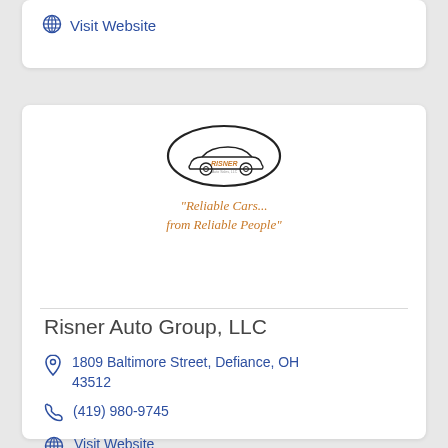Visit Website
[Figure (logo): Risner Auto Group LLC logo: oval shape with car silhouette and orange text, with tagline 'Reliable Cars... from Reliable People']
Risner Auto Group, LLC
1809 Baltimore Street, Defiance, OH 43512
(419) 980-9745
Visit Website